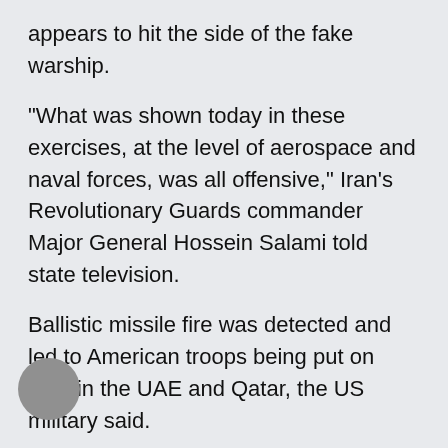appears to hit the side of the fake warship.
"What was shown today in these exercises, at the level of aerospace and naval forces, was all offensive," Iran's Revolutionary Guards commander Major General Hossein Salami told state television.
Ballistic missile fire was detected and led to American troops being put on alert in the UAE and Qatar, the US military said.
"The US Navy conducts defensive exercises with our partners promoting maritime security in support of freedom of navigation; whereas, Iran conducts